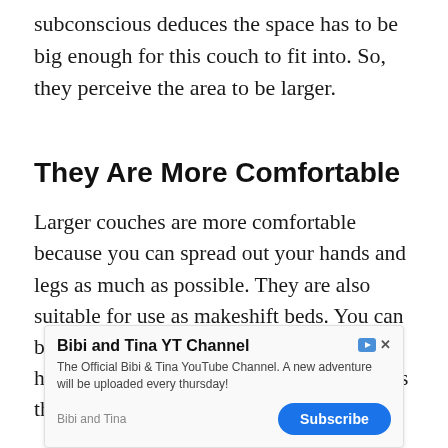subconscious deduces the space has to be big enough for this couch to fit into. So, they perceive the area to be larger.
They Are More Comfortable
Larger couches are more comfortable because you can spread out your hands and legs as much as possible. They are also suitable for use as makeshift beds. You can buy bigger, plushier throw pillows if you have a bigger couch, which definitely kicks the comfort factor up a notch.
[Figure (other): Advertisement banner for 'Bibi and Tina YT Channel' — The Official Bibi & Tina YouTube Channel. A new adventure will be uploaded every thursday! With a Subscribe button.]